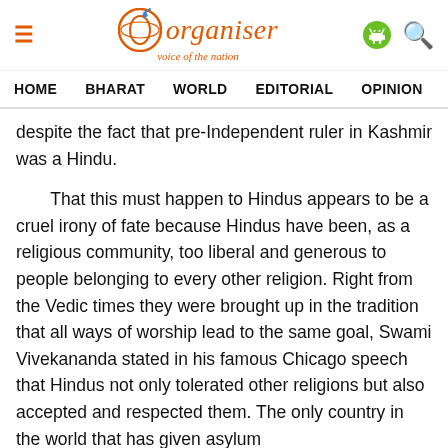[Figure (logo): Organiser magazine logo with orange circle containing a globe/O symbol, text 'organiser' in orange serif italic font, tagline 'voice of the nation' below, hamburger menu icon on left, Android and search icons on right]
HOME   BHARAT   WORLD   EDITORIAL   OPINION   ANA
despite the fact that pre-Independent ruler in Kashmir was a Hindu.
That this must happen to Hindus appears to be a cruel irony of fate because Hindus have been, as a religious community, too liberal and generous to people belonging to every other religion. Right from the Vedic times they were brought up in the tradition that all ways of worship lead to the same goal, Swami Vivekananda stated in his famous Chicago speech that Hindus not only tolerated other religions but also accepted and respected them. The only country in the world that has given asylum